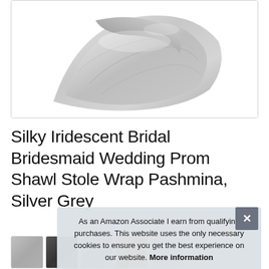[Figure (photo): Light gray/silver iridescent shawl fabric folded and draped, shown on white background within a bordered product image container.]
Silky Iridescent Bridal Bridesmaid Wedding Prom Shawl Stole Wrap Pashmina, Silver Grey
[Figure (photo): Row of product thumbnail images: gray shawl, dark item, multi-color item, gold item, partially visible.]
As an Amazon Associate I earn from qualifying purchases. This website uses the only necessary cookies to ensure you get the best experience on our website. More information